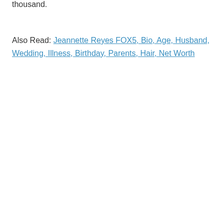thousand.
Also Read: Jeannette Reyes FOX5, Bio, Age, Husband, Wedding, Illness, Birthday, Parents, Hair, Net Worth